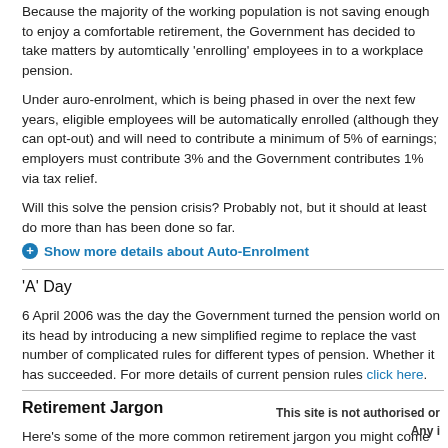Because the majority of the working population is not saving enough to enjoy a comfortable retirement, the Government has decided to take matters by automtically 'enrolling' employees in to a workplace pension.
Under auro-enrolment, which is being phased in over the next few years, eligible employees will be automatically enrolled (although they can opt-out) and will need to contribute a minimum of 5% of earnings; employers must contribute 3% and the Government contributes 1% via tax relief.
Will this solve the pension crisis? Probably not, but it should at least do more than has been done so far.
+ Show more details about Auto-Enrolment
'A' Day
6 April 2006 was the day the Government turned the pension world on its head by introducing a new simplified regime to replace the vast number of complicated rules for different types of pension. Whether it has succeeded. For more details of current pension rules click here.
Retirement Jargon
Here's some of the more common retirement jargon you might come acros
+ Show a list of Retirement Jargon
This site is not authorised or regulated by the FSA. Any i